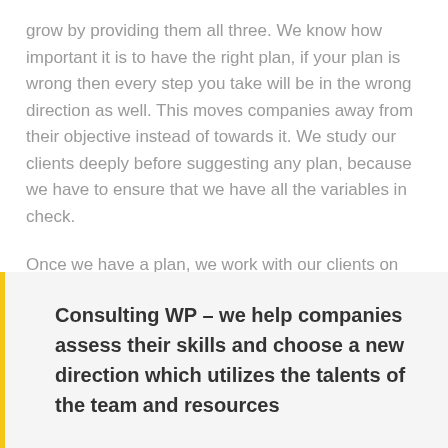grow by providing them all three. We know how important it is to have the right plan, if your plan is wrong then every step you take will be in the wrong direction as well. This moves companies away from their objective instead of towards it. We study our clients deeply before suggesting any plan, because we have to ensure that we have all the variables in check.
Once we have a plan, we work with our clients on creating a strategy. Many people think strategy and plan are the same but Consulting WordPress Theme knows better. We know that plan is what we try to achieve and strategy is how we are going to achieve it.
Consulting WP – we help companies assess their skills and choose a new direction which utilizes the talents of the team and resources